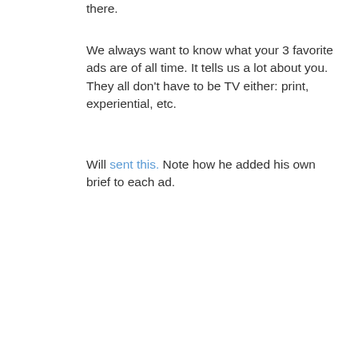there.
We always want to know what your 3 favorite ads are of all time. It tells us a lot about you. They all don't have to be TV either: print, experiential, etc.
Will sent this. Note how he added his own brief to each ad.
[Figure (screenshot): A card/letter excerpt with bold headline 'SUBJECT: WILL YOU REALLY GET BACK TO THIS INTERN CANDIDATE QUICKLY?' followed by salutation 'To Whom it May Concern at The Next Wave,' and body text beginning 'Even if for some off reason on a rare occasion you asked me to make the']